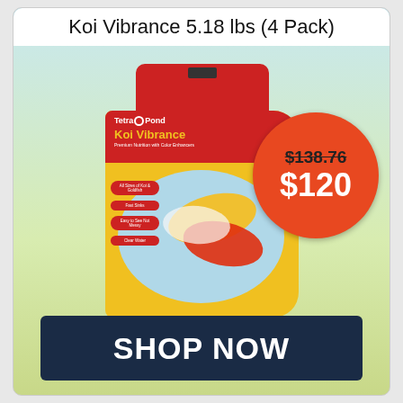Koi Vibrance 5.18 lbs (4 Pack)
[Figure (photo): Tetra Pond Koi Vibrance 5.18 lbs fish food bag (red and yellow) with an orange circular price badge showing original price $138.76 struck through and sale price $120]
SHOP NOW